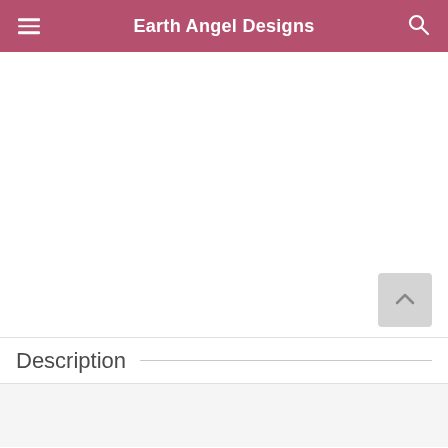Earth Angel Designs
Description